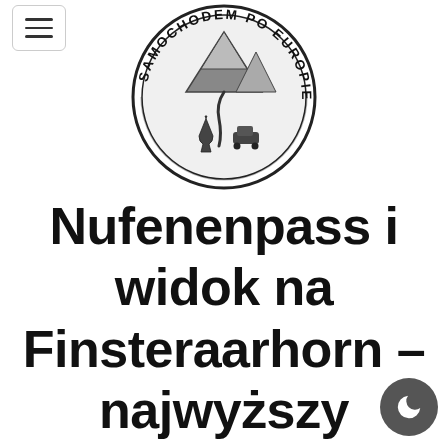[Figure (logo): Circular logo reading 'SAMOCHODEM PO EUROPIE' around the border, with a mountain road scene, wine glass and car icons in the center]
Nufenenpass i widok na Finsteraarhorn – najwyższy szczyt